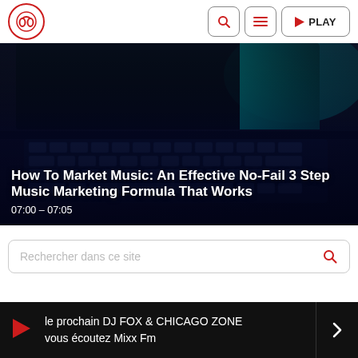[Figure (logo): Radio station logo — headphones icon in red circle]
[Figure (screenshot): Navigation buttons: search icon, hamburger menu icon, and PLAY button]
[Figure (photo): Dark laptop keyboard photo used as hero image background with overlay text]
How To Market Music: An Effective No-Fail 3 Step Music Marketing Formula That Works
07:00 – 07:05
Rechercher dans ce site
le prochain DJ FOX & CHICAGO ZONE vous écoutez Mixx Fm